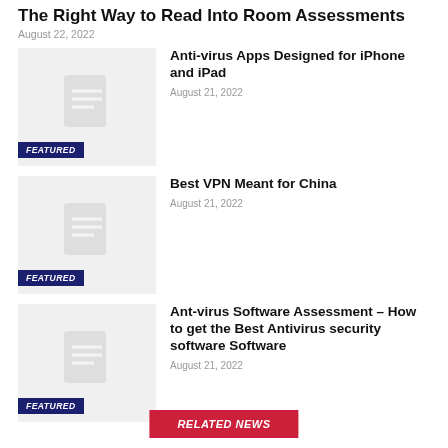The Right Way to Read Into Room Assessments
August 22, 2022
[Figure (illustration): Thumbnail with document icon and FEATURED badge]
Anti-virus Apps Designed for iPhone and iPad
August 21, 2022
[Figure (illustration): Thumbnail with document icon and FEATURED badge]
Best VPN Meant for China
August 21, 2022
[Figure (illustration): Thumbnail with document icon and FEATURED badge]
Ant-virus Software Assessment – How to get the Best Antivirus security software Software
August 21, 2022
RELATED NEWS